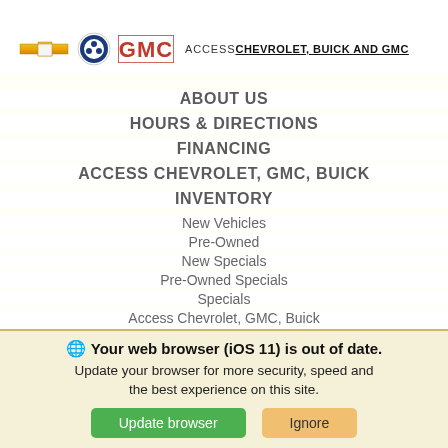[Figure (logo): Chevrolet bowtie, Buick, and GMC logos with ACCESS CHEVROLET, BUICK AND GMC text]
ABOUT US
HOURS & DIRECTIONS
FINANCING
ACCESS CHEVROLET, GMC, BUICK
INVENTORY
New Vehicles
Pre-Owned
New Specials
Pre-Owned Specials
Specials
Access Chevrolet, GMC, Buick
Your web browser (iOS 11) is out of date. Update your browser for more security, speed and the best experience on this site.